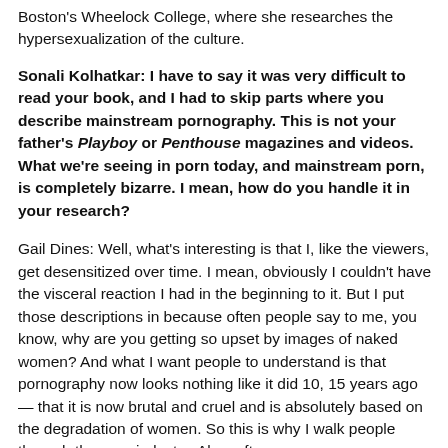Boston's Wheelock College, where she researches the hypersexualization of the culture.
Sonali Kolhatkar: I have to say it was very difficult to read your book, and I had to skip parts where you describe mainstream pornography. This is not your father's Playboy or Penthouse magazines and videos. What we're seeing in porn today, and mainstream porn, is completely bizarre. I mean, how do you handle it in your research?
Gail Dines: Well, what's interesting is that I, like the viewers, get desensitized over time. I mean, obviously I couldn't have the visceral reaction I had in the beginning to it. But I put those descriptions in because often people say to me, you know, why are you getting so upset by images of naked women? And what I want people to understand is that pornography now looks nothing like it did 10, 15 years ago — that it is now brutal and cruel and is absolutely based on the degradation of women. So this is why I walk people through the porn industry. Also, often